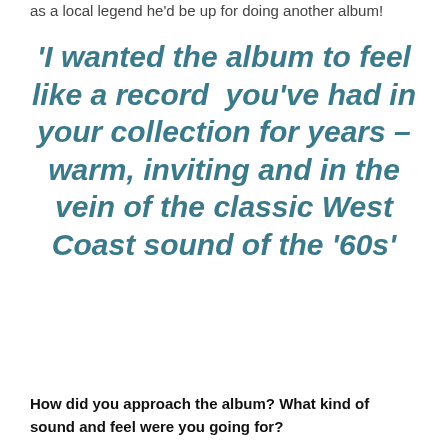as a local legend he'd be up for doing another album!
'I wanted the album to feel like a record  you've had in your collection for years – warm, inviting and in the vein of the classic West Coast sound of the '60s'
How did you approach the album? What kind of sound and feel were you going for?